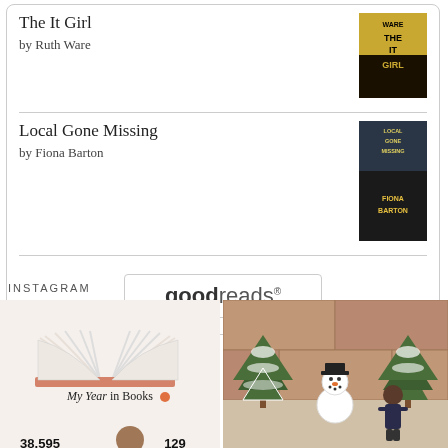The It Girl
by Ruth Ware
[Figure (photo): Book cover of 'The It Girl' by Ruth Ware]
Local Gone Missing
by Fiona Barton
[Figure (photo): Book cover of 'Local Gone Missing' by Fiona Barton]
[Figure (logo): Goodreads logo button]
INSTAGRAM
[Figure (photo): Goodreads 'My Year in Books' infographic showing open book illustration, '38,595' and '129']
[Figure (photo): Christmas photo of a child with a snowman decoration in front of a brick wall with Christmas trees]